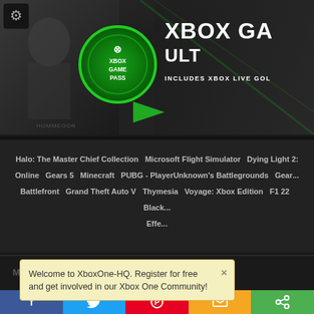[Figure (screenshot): Xbox Game Pass Ultimate promotional banner with green Xbox logo circle, character image on left, and text 'XBOX GAME PASS / XBOX GA... ULT... / INCLUDES XBOX LIVE GOL...']
Halo: The Master Chief Collection  Microsoft Flight Simulator  Dying Light 2:  Online  Gears 5  Minecraft  PUBG - PlayerUnknown's Battlegrounds  Gear...  Battlefront  Grand Theft Auto V  Thymesia  Voyage: Xbox Edition  F1 22  Black...  Effe...
News  Downloads  Priva...
Welcome to XboxOne-HQ. Register for free and get involved in our Xbox One Community!